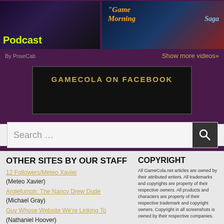[Figure (screenshot): GameCola Podcast video thumbnail with yellow-green bold text on dark background]
[Figure (screenshot): Game Morning and Saga video thumbnail with orange and blue stylized text on dark background]
By PoseCab
Show more videos»
GAMECOLA ON FACEBOOK
Search …
OTHER SITES BY OUR STAFF
12 Followers/Meteo Xavier (Meteo Xavier)
Arglefumph: The Nancy Drew Dude (Michael Gray)
Guy Whose Website We're Linking To (Nathaniel Hoover)
Things I Put In My Husband's Lunch (Shannon Hoover)
COPYRIGHT
All GameCola.net articles are owned by their attributed writers. All trademarks and copyrights are property of their respective owners. All products and characters are property of their respective trademark and copyright owners. Copyright in all screenshots is owned by their respective companies.

If you want GameCola to review your videogame or computer game, please contact Alex Jedraszczak.